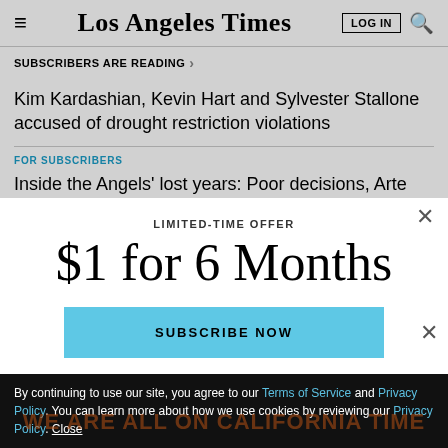Los Angeles Times
SUBSCRIBERS ARE READING
Kim Kardashian, Kevin Hart and Sylvester Stallone accused of drought restriction violations
FOR SUBSCRIBERS
Inside the Angels' lost years: Poor decisions, Arte Moreno's
LIMITED-TIME OFFER
$1 for 6 Months
SUBSCRIBE NOW
By continuing to use our site, you agree to our Terms of Service and Privacy Policy. You can learn more about how we use cookies by reviewing our Privacy Policy. Close